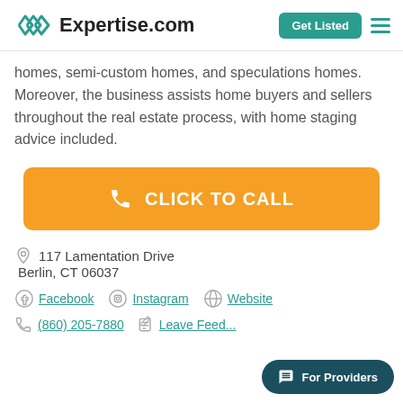Expertise.com
homes, semi-custom homes, and speculations homes. Moreover, the business assists home buyers and sellers throughout the real estate process, with home staging advice included.
CLICK TO CALL
117 Lamentation Drive
Berlin, CT 06037
Facebook  Instagram  Website
(860) 205-7880  Leave Feed...
For Providers